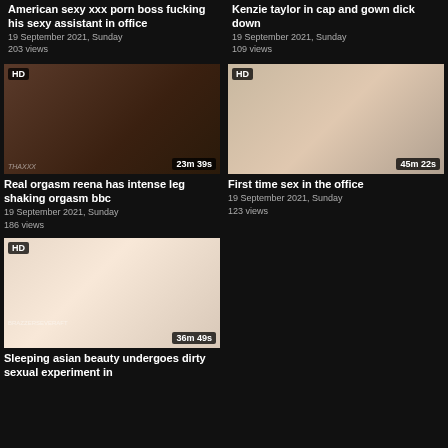American sexy xxx porn boss fucking his sexy assistant in office
19 September 2021, Sunday
203 views
Kenzie taylor in cap and gown dick down
19 September 2021, Sunday
109 views
[Figure (photo): Dark close-up thumbnail, HD badge, 23m 39s duration]
Real orgasm reena has intense leg shaking orgasm bbc
19 September 2021, Sunday
186 views
[Figure (photo): Blonde woman thumbnail, HD badge, 45m 22s duration]
First time sex in the office
19 September 2021, Sunday
123 views
[Figure (photo): Two nurses thumbnail, HD badge, 36m 49s duration]
Sleeping asian beauty undergoes dirty sexual experiment in